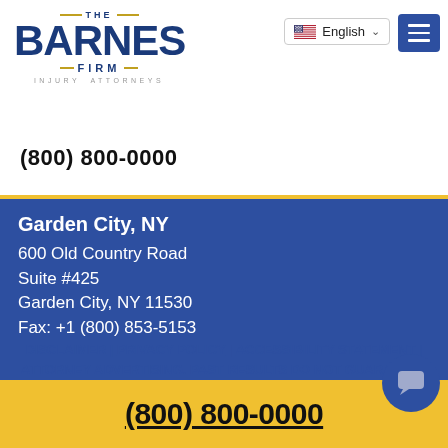[Figure (logo): The Barnes Firm Injury Attorneys logo in dark blue with gold accent lines]
(800) 800-0000
Garden City, NY
600 Old Country Road
Suite #425
Garden City, NY 11530
Fax: +1 (800) 853-5153
DISCLAIMER | PRIVACY POLICY | ACCESSIBILITY STATEMENT | ATTORNEY ADVERTISING. PAST RESULTS DO NOT GUARANTEE FUT...
(800) 800-0000